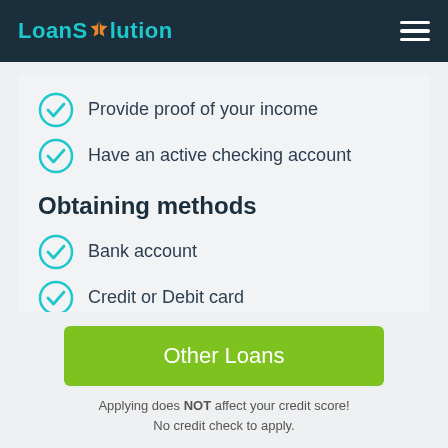Loan Solution
Provide proof of your income
Have an active checking account
Obtaining methods
Bank account
Credit or Debit card
Other Loans
Applying does NOT affect your credit score! No credit check to apply.